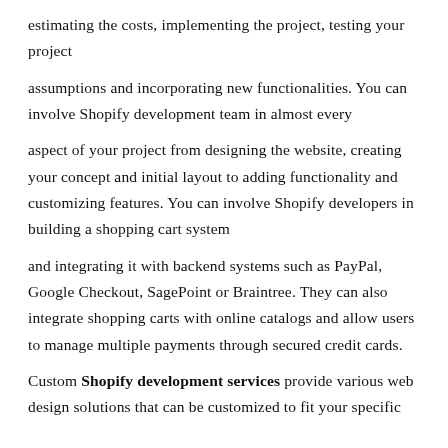estimating the costs, implementing the project, testing your project
assumptions and incorporating new functionalities. You can involve Shopify development team in almost every
aspect of your project from designing the website, creating your concept and initial layout to adding functionality and customizing features. You can involve Shopify developers in building a shopping cart system
and integrating it with backend systems such as PayPal, Google Checkout, SagePoint or Braintree. They can also integrate shopping carts with online catalogs and allow users to manage multiple payments through secured credit cards.
Custom Shopify development services provide various web design solutions that can be customized to fit your specific